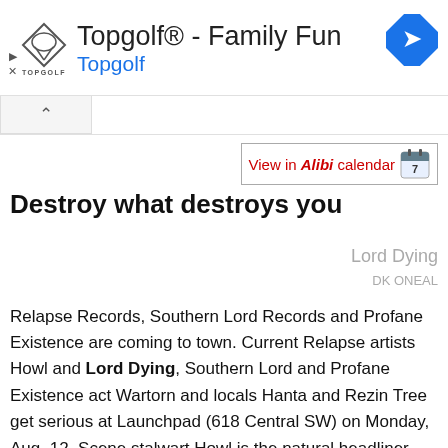[Figure (other): Topgolf advertisement banner with logo, title 'Topgolf® - Family Fun', subtitle 'Topgolf', and blue diamond arrow icon]
View in Alibi calendar
Destroy what destroys you
Lord Dying
DK ONEAL
Relapse Records, Southern Lord Records and Profane Existence are coming to town. Current Relapse artists Howl and Lord Dying, Southern Lord and Profane Existence act Wartorn and locals Hanta and Rezin Tree get serious at Launchpad (618 Central SW) on Monday, Aug. 12. Scene stalwart Howl is the natural headliner, but this media-weary editor found Lord Dying the more promising selection. Not to be...